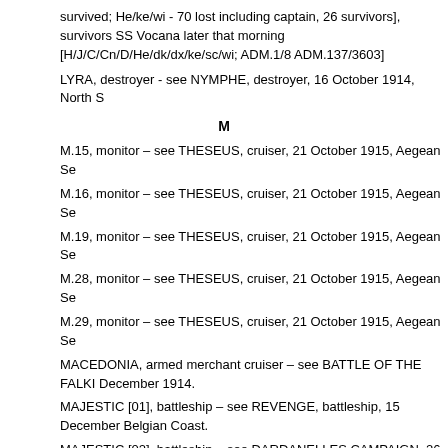survived; He/ke/wi - 70 lost including captain, 26 survivors], survivors SS Vocana later that morning [H/J/C/Cn/D/He/dk/dx/ke/sc/wi; ADM.1/8 ADM.137/3603]
LYRA, destroyer - see NYMPHE, destroyer, 16 October 1914, North S
M
M.15, monitor – see THESEUS, cruiser, 21 October 1915, Aegean Se
M.16, monitor – see THESEUS, cruiser, 21 October 1915, Aegean Se
M.19, monitor – see THESEUS, cruiser, 21 October 1915, Aegean Se
M.28, monitor – see THESEUS, cruiser, 21 October 1915, Aegean Se
M.29, monitor – see THESEUS, cruiser, 21 October 1915, Aegean Se
MACEDONIA, armed merchant cruiser – see BATTLE OF THE FALKI December 1914.
MAJESTIC [01], battleship – see REVENGE, battleship, 15 December Belgian Coast.
MAJESTIC [02], battleship – see DARDANELLES CAMPAIGN, 26 Fe Second Bombardment of Outer Dardanelles Forts, continued
MAJESTIC [03], battleship – see DARDANELLES CAMPAIGN, 1 Mar Second Bombardment of Outer Dardanelles Forts, continued